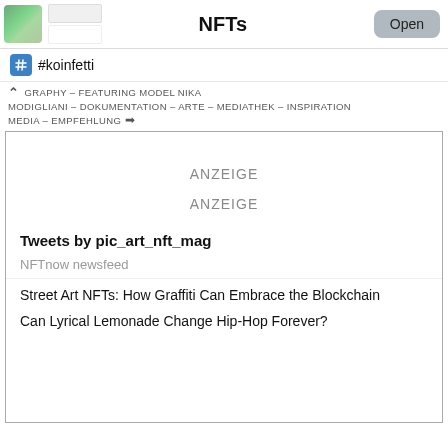NFTs
#koinfetti
GRAPHY – FEATURING MODEL NIKA
MODIGLIANI – DOKUMENTATION – ARTE – MEDIATHEK – INSPIRATION
MEDIA – EMPFEHLUNG →
ANZEIGE
ANZEIGE
Tweets by pic_art_nft_mag
NFTnow newsfeed
Street Art NFTs: How Graffiti Can Embrace the Blockchain
Can Lyrical Lemonade Change Hip-Hop Forever?